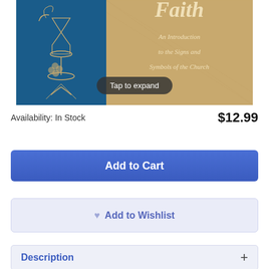[Figure (photo): Book cover image showing a religious book titled 'Faith: An Introduction to the Signs and Symbols of the Church'. Left side has blue background with gold chalice and wheat illustration; right side has tan/burlap texture with gold calligraphy text. A 'Tap to expand' overlay button is visible.]
Availability: In Stock
$12.99
Add to Cart
Add to Wishlist
Description